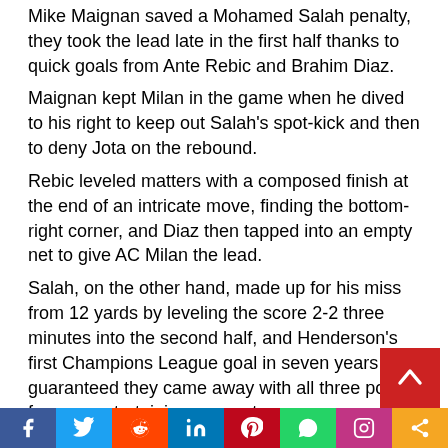Mike Maignan saved a Mohamed Salah penalty, they took the lead late in the first half thanks to quick goals from Ante Rebic and Brahim Diaz.
Maignan kept Milan in the game when he dived to his right to keep out Salah's spot-kick and then to deny Jota on the rebound.
Rebic leveled matters with a composed finish at the end of an intricate move, finding the bottom-right corner, and Diaz then tapped into an empty net to give AC Milan the lead.
Salah, on the other hand, made up for his miss from 12 yards by leveling the score 2-2 three minutes into the second half, and Henderson's first Champions League goal in seven years guaranteed they came away with all three points from an entertaining encounter.
Henderson isn't known for his goal-scoring ability, but in this encounter, he came up with a spectacular